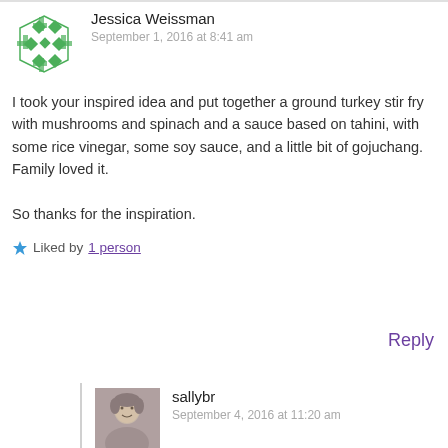[Figure (illustration): Green and white mosaic/geometric avatar for Jessica Weissman]
Jessica Weissman
September 1, 2016 at 8:41 am
I took your inspired idea and put together a ground turkey stir fry with mushrooms and spinach and a sauce based on tahini, with some rice vinegar, some soy sauce, and a little bit of gojuchang. Family loved it.

So thanks for the inspiration.
★ Liked by 1 person
Reply
[Figure (photo): Profile photo of sallybr]
sallybr
September 4, 2016 at 11:20 am
Great! My knees got weak with the mention of gojuchang… I need to incorporate that next